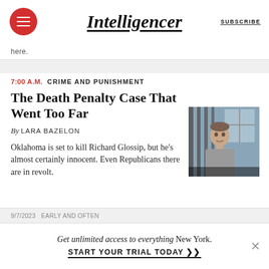Intelligencer  SUBSCRIBE
here.
7:00 A.M.  CRIME AND PUNISHMENT
The Death Penalty Case That Went Too Far
By LARA BAZELON
Oklahoma is set to kill Richard Glossip, but he's almost certainly innocent. Even Republicans there are in revolt.
[Figure (photo): Man behind prison bars, appearing to be incarcerated]
9/7/2023  EARLY AND OFTEN
Get unlimited access to everything New York.
START YOUR TRIAL TODAY ➤➤